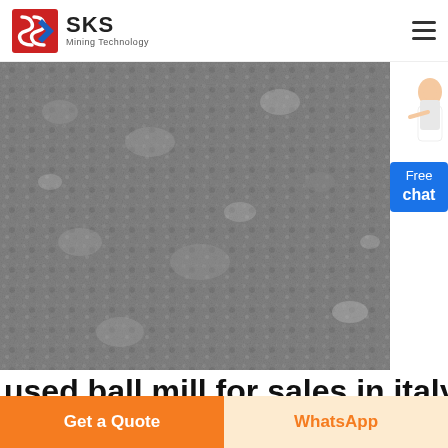SKS Mining Technology
[Figure (photo): Close-up photograph of crushed gray gravel/aggregate material covering the entire frame]
[Figure (illustration): Customer service representative figure and blue Free chat widget button on the right side]
used ball mill for sales in italy crusherquartz
Get a Quote
WhatsApp